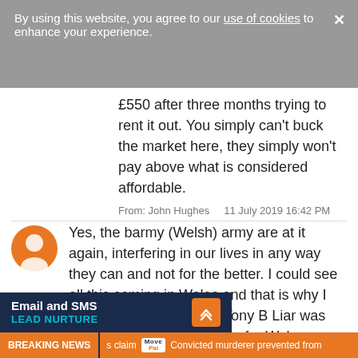By using this website, you agree to our use of cookies to enhance your experience.
£550 after three months trying to rent it out. You simply can't buck the market here, they simply won't pay above what is considered affordable.
From: John Hughes    11 July 2019 16:42 PM
Yes, the barmy (Welsh) army are at it again, interfering in our lives in any way they can and not for the better. I could see all this coming in Wales and that is why I voted against the WAG. Tony B Liar was the champion of devolution for Wales, because he knew that the socialists would be kept in power for ever. We now have the Corbyn sympathiser, comrade Drakeford instilled as leader. The latest announcement from the asylum in s worn in Welsh schools should ll ti
Email and SMS LEAD NURTURE
BREAKING NEWS  s claim  Convicted murderer prevented from